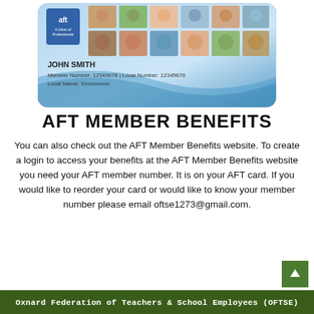[Figure (illustration): AFT membership card showing 'JOHN SMITH', Member Number: 12345678, Local Number: 12345678, Local Name: Xxxxxxxxxx, with AFT logo and multiple photos of people on a blue card.]
AFT MEMBER BENEFITS
You can also check out the AFT Member Benefits website. To create a login to access your benefits at the AFT Member Benefits website you need your AFT member number. It is on your AFT card. If you would like to reorder your card or would like to know your member number please email oftse1273@gmail.com.
Oxnard Federation of Teachers & School Employees (OFTSE)